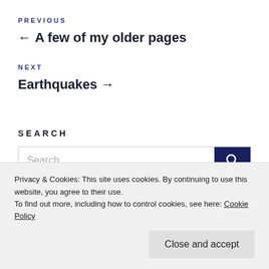PREVIOUS
← A few of my older pages
NEXT
Earthquakes →
SEARCH
[Figure (screenshot): Search input box with dark navy search button icon]
Privacy & Cookies: This site uses cookies. By continuing to use this website, you agree to their use.
To find out more, including how to control cookies, see here: Cookie Policy
Close and accept